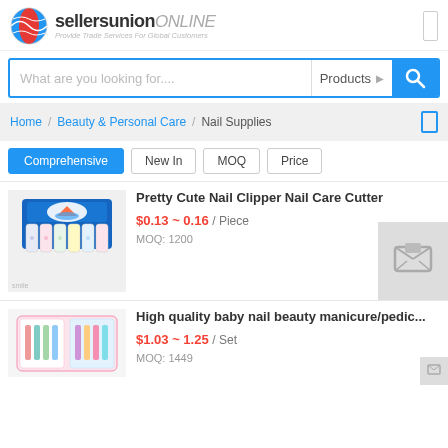[Figure (logo): SellersUnion Online logo with globe icon and tagline 'Provide Trade Services For Global Customers']
What are you looking for....   Products
Home / Beauty & Personal Care / Nail Supplies
Comprehensive
New In
MOQ
Price
Pretty Cute Nail Clipper Nail Care Cutter
$0.13 ~ 0.16 / Piece
MOQ: 1200
[Figure (photo): Nail clipper display box with multiple colorful nail clippers]
High quality baby nail beauty manicure/pedic...
$1.03 ~ 1.25 / Set
MOQ: 1449
[Figure (photo): Baby nail care manicure/pedicure set in packaging]